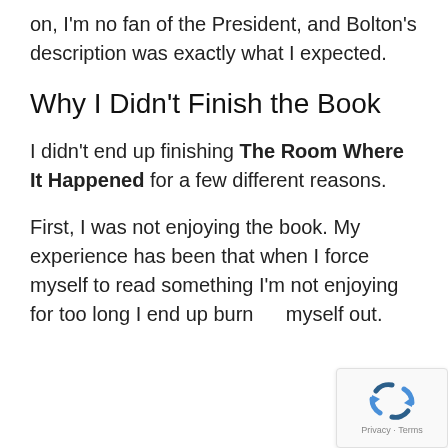on, I'm no fan of the President, and Bolton's description was exactly what I expected.
Why I Didn't Finish the Book
I didn't end up finishing The Room Where It Happened for a few different reasons.
First, I was not enjoying the book. My experience has been that when I force myself to read something I'm not enjoying for too long I end up burning myself out.
[Figure (logo): reCAPTCHA badge with Privacy and Terms text]